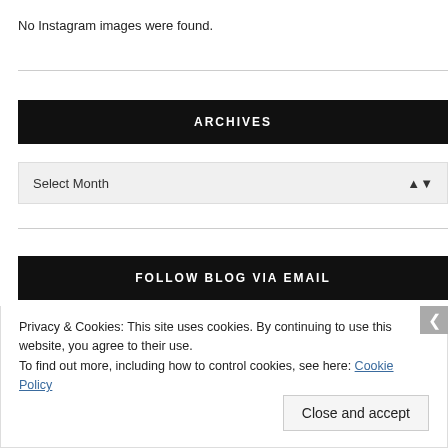No Instagram images were found.
ARCHIVES
Select Month
FOLLOW BLOG VIA EMAIL
Privacy & Cookies: This site uses cookies. By continuing to use this website, you agree to their use.
To find out more, including how to control cookies, see here: Cookie Policy
Close and accept